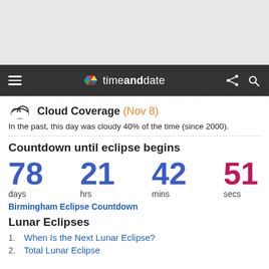[Figure (screenshot): Gray banner area at top of page (advertisement/header space)]
timeanddate (navigation bar with hamburger menu, logo, share and search icons)
Cloud Coverage (Nov 8)
In the past, this day was cloudy 40% of the time (since 2000).
Countdown until eclipse begins
78 days  21 hrs  42 mins  51 secs
Birmingham Eclipse Countdown
Lunar Eclipses
When Is the Next Lunar Eclipse?
Total Lunar Eclipse